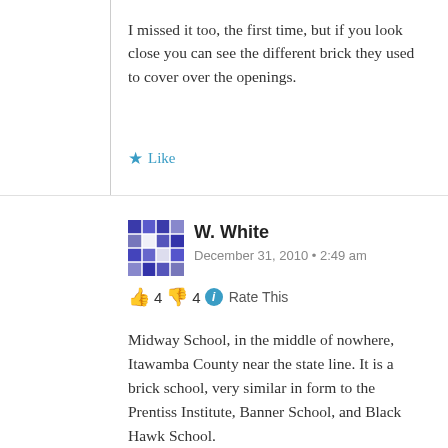I missed it too, the first time, but if you look close you can see the different brick they used to cover over the openings.
Like
W. White
December 31, 2010 • 2:49 am
👍 4 👎 4 ℹ Rate This
Midway School, in the middle of nowhere, Itawamba County near the state line. It is a brick school, very similar in form to the Prentiss Institute, Banner School, and Black Hawk School.
Like